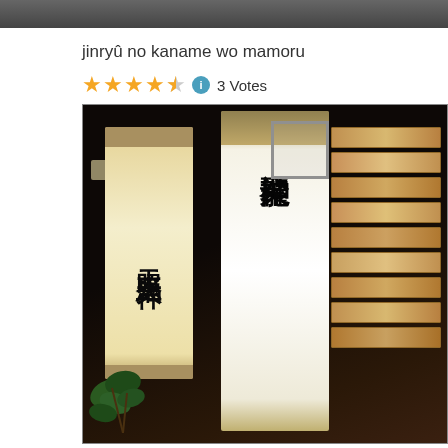[Figure (photo): Partial top edge of a photo showing a dark background, cropped at the top of the page.]
jinryû no kaname wo mamoru
★★★★½ ℹ 3 Votes
[Figure (photo): Interior of a Japanese shrine or temple showing two hanging scroll calligraphy pieces. The left scroll reads 天照皇大神 on a beige background. The center scroll has large Japanese calligraphy on white. Wooden votive tablets (ema) visible on the right side. A plant is in the lower left. Dark wooden ceiling and walls visible.]